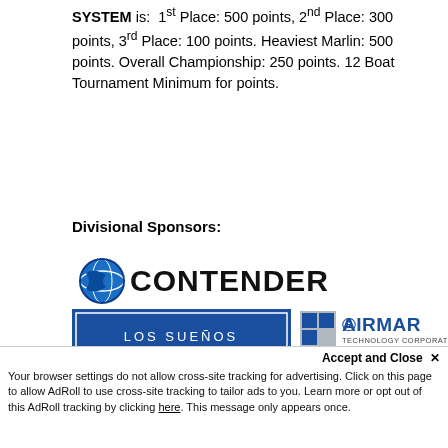SYSTEM is: 1st Place: 500 points, 2nd Place: 300 points, 3rd Place: 100 points. Heaviest Marlin: 500 points. Overall Championship: 250 points. 12 Boat Tournament Minimum for points.
Divisional Sponsors:
[Figure (logo): CONTENDER brand logo in bold black with blue fish/globe icon]
[Figure (logo): Los Sueños resort and marina, Costa Rica - white text on blue background]
[Figure (logo): AIRMAR Technology Corporation logo with blue grid icon]
[Figure (logo): Sea Genie II oval logo with marlin illustration on blue/gold background]
[Figure (logo): FURUNO Marine Electronics logo in blue]
Accept and Close ✕ Your browser settings do not allow cross-site tracking for advertising. Click on this page to allow AdRoll to use cross-site tracking to tailor ads to you. Learn more or opt out of this AdRoll tracking by clicking here. This message only appears once.